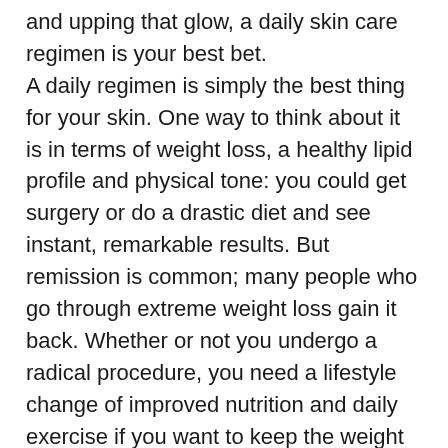and upping that glow, a daily skin care regimen is your best bet.
A daily regimen is simply the best thing for your skin. One way to think about it is in terms of weight loss, a healthy lipid profile and physical tone: you could get surgery or do a drastic diet and see instant, remarkable results. But remission is common; many people who go through extreme weight loss gain it back. Whether or not you undergo a radical procedure, you need a lifestyle change of improved nutrition and daily exercise if you want to keep the weight off and stay healthier, longer.
This daily care over more drastic procedures works for your skin, too. Dermatological procedures and a monthly facial definitely give your skin a boost — and can even clear severe or stubborn concerns dramatically. But, problems frequently recur without a real change in skin habits. There